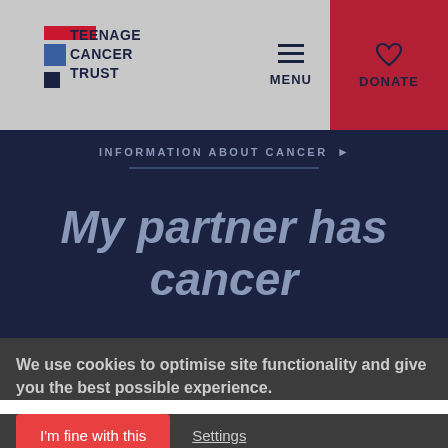[Figure (logo): Teenage Cancer Trust logo with red, blue, and dark blue squares]
MENU | DONATE
INFORMATION ABOUT CANCER ▶
My partner has cancer
We use cookies to optimise site functionality and give you the best possible experience.
I'm fine with this | Settings